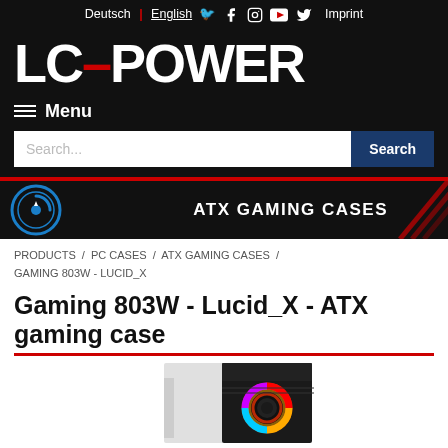Deutsch | English [Facebook] [Instagram] [YouTube] [Twitter] Imprint
[Figure (logo): LC-Power logo in white bold text on black background with red dash between LC and POWER]
≡ Menu
Search...  [Search button]
[Figure (infographic): ATX Gaming Cases banner: LC-Power circular blue/white icon on black background with red diagonal lines decoration and text ATX GAMING CASES]
PRODUCTS / PC CASES / ATX GAMING CASES / GAMING 803W - LUCID_X
Gaming 803W - Lucid_X - ATX gaming case
[Figure (photo): Partial product photo of Gaming 803W - Lucid_X ATX gaming case showing black and white tower with RGB fan visible through mesh panel]